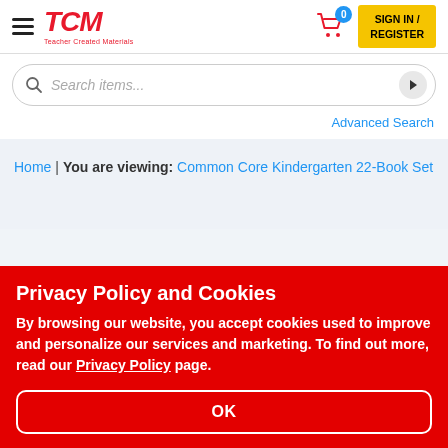TCM — Teacher Created Materials header with hamburger menu, cart (0), Sign In / Register
Search items...
Advanced Search
Home | You are viewing: Common Core Kindergarten 22-Book Set
Privacy Policy and Cookies
By browsing our website, you accept cookies used to improve and personalize our services and marketing. To find out more, read our Privacy Policy page.
OK